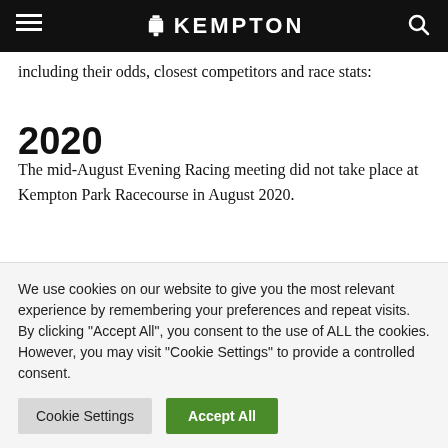KEMPTON
including their odds, closest competitors and race stats:
2020
The mid-August Evening Racing meeting did not take place at Kempton Park Racecourse in August 2020.
2019
We use cookies on our website to give you the most relevant experience by remembering your preferences and repeat visits. By clicking “Accept All”, you consent to the use of ALL the cookies. However, you may visit “Cookie Settings” to provide a controlled consent.